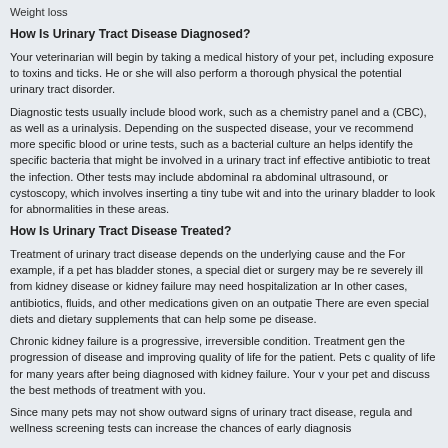Weight loss
How Is Urinary Tract Disease Diagnosed?
Your veterinarian will begin by taking a medical history of your pet, including exposure to toxins and ticks. He or she will also perform a thorough physical the potential urinary tract disorder.
Diagnostic tests usually include blood work, such as a chemistry panel and a (CBC), as well as a urinalysis. Depending on the suspected disease, your ve recommend more specific blood or urine tests, such as a bacterial culture an helps identify the specific bacteria that might be involved in a urinary tract inf effective antibiotic to treat the infection. Other tests may include abdominal ra abdominal ultrasound, or cystoscopy, which involves inserting a tiny tube wit and into the urinary bladder to look for abnormalities in these areas.
How Is Urinary Tract Disease Treated?
Treatment of urinary tract disease depends on the underlying cause and the For example, if a pet has bladder stones, a special diet or surgery may be re severely ill from kidney disease or kidney failure may need hospitalization ar In other cases, antibiotics, fluids, and other medications given on an outpatie There are even special diets and dietary supplements that can help some pe disease.
Chronic kidney failure is a progressive, irreversible condition. Treatment gen the progression of disease and improving quality of life for the patient. Pets c quality of life for many years after being diagnosed with kidney failure. Your v your pet and discuss the best methods of treatment with you.
Since many pets may not show outward signs of urinary tract disease, regula and wellness screening tests can increase the chances of early diagnosis